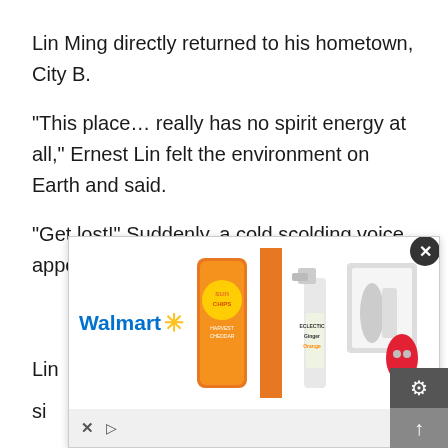Lin Ming directly returned to his hometown, City B.
“This place… really has no spirit energy at all,” Ernest Lin felt the environment on Earth and said.
“Get lost!” Suddenly, a cold scolding voice appeared.
Lin [partially obscured by ad] si[d]
[Figure (screenshot): Walmart advertisement banner featuring Sun Chips Harvest Cheddar bag, a spray bottle labeled Eclectic Ginger Orange, and gaming console/controller products. Ad includes Walmart logo with blue text and yellow spark, close (X) button, settings gear icon, and scroll arrow at bottom right.]